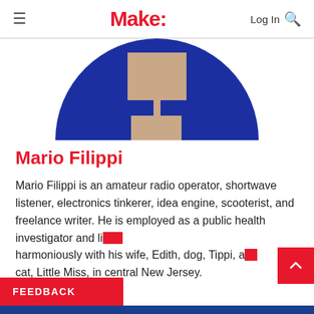Make:
[Figure (illustration): Circular avatar illustration with blue and tan/beige geometric shapes representing a person, shown cropped as a half-circle at the top of the page.]
Mario Filippi
Mario Filippi is an amateur radio operator, shortwave listener, electronics tinkerer, idea engine, scooterist, and freelance writer. He is employed as a public health investigator and lives harmoniously with his wife, Edith, dog, Tippi, and cat, Little Miss, in central New Jersey.
FEEDBACK